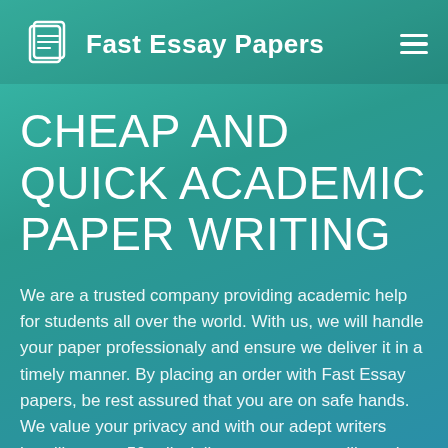Fast Essay Papers
CHEAP AND QUICK ACADEMIC PAPER WRITING
We are a trusted company providing academic help for students all over the world. With us, we will handle your paper professionaly and ensure we deliver it in a timely manner. By placing an order with Fast Essay papers, be rest assured that you are on safe hands. We value your privacy and with our adept writers handling over 50+ disciplines, your paper will get the best treatment ever.